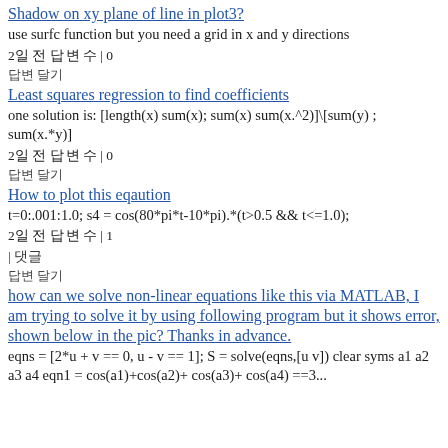Shadow on xy plane of line in plot3?
use surfc function but you need a grid in x and y directions
2일 전 답 변 수 | 0
답변 달기
Least squares regression to find coefficients
one solution is: [length(x) sum(x); sum(x) sum(x.^2)]\[sum(y) ; sum(x.*y)]
2일 전 답 변 수 | 0
답변 달기
How to plot this eqaution
t=0:.001:1.0; s4 = cos(80*pi*t-10*pi).*(t>0.5 && t<=1.0);
2일 전 답 변 수 | 1
| 댓글
답변 달기
how can we solve non-linear equations like this via MATLAB, I am trying to solve it by using following program but it shows error, shown below in the pic? Thanks in advance.
eqns = [2*u + v == 0, u - v == 1]; S = solve(eqns,[u v]) clear syms a1 a2 a3 a4 eqn1 = cos(a1)+cos(a2)+ cos(a3)+ cos(a4) ==3...